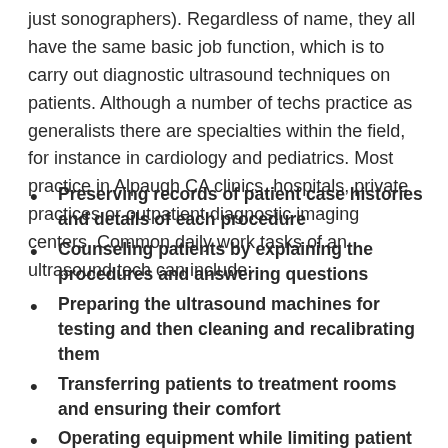just sonographers). Regardless of name, they all have the same basic job function, which is to carry out diagnostic ultrasound techniques on patients. Although a number of techs practice as generalists there are specialties within the field, for instance in cardiology and pediatrics. Most practice in Alpaugh CA clinics, hospitals, private practices or outpatient diagnostic imaging centers. Common daily work tasks of an ultrasound tech can include:
Preserving records of patient case histories and details of each procedure
Counseling patients by explaining the procedures and answering questions
Preparing the ultrasound machines for testing and then cleaning and recalibrating them
Transferring patients to treatment rooms and ensuring their comfort
Operating equipment while limiting patient exposure to sound waves